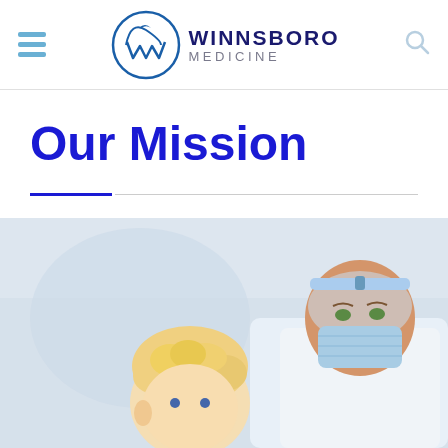Winnsboro Medicine — navigation header with hamburger menu, logo, and search icon
Our Mission
[Figure (photo): A medical professional wearing a face shield and surgical mask leaning over a young child patient with curly blond hair, in a clinical setting]